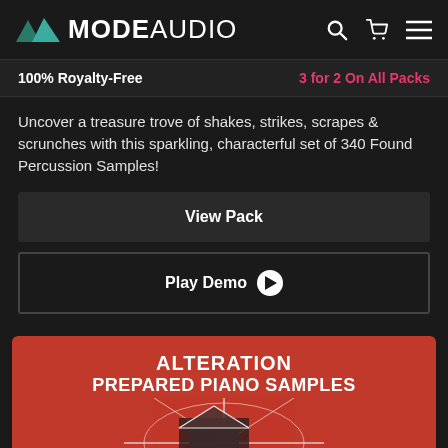MODE AUDIO
100% Royalty-Free    3 for 2 On All Packs
Uncover a treasure trove of shakes, strikes, scrapes & scrunches with this sparkling, characterful set of 340 Found Percussion Samples!
View Pack
Play Demo
[Figure (illustration): Album artwork for 'Alteration Prepared Piano Samples' — red background with architectural/geometric diagram overlaid, white text title]